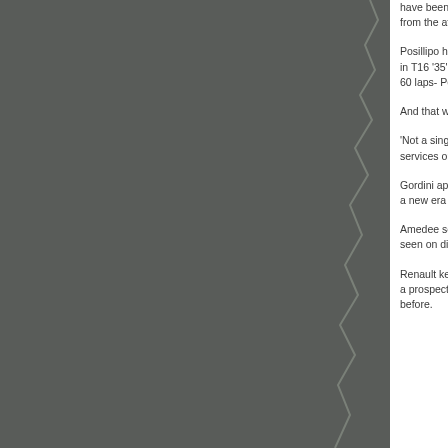[Figure (photo): A torn or ragged-edged photograph or image taking up the left portion of the page, showing a dark grey/green surface, partially cropped by a torn paper edge on the right side.]
have been fascinatin from the attractive bu
Posillipo had been a in T16 '35' used by G 60 laps- Peter Collins
And that was it for a t
'Not a single French services once his rac
Gordini approached h a new era for the bor
Amedee sold ten of h seen on display to th
Renault kept his nam a prospect Amedee w before.